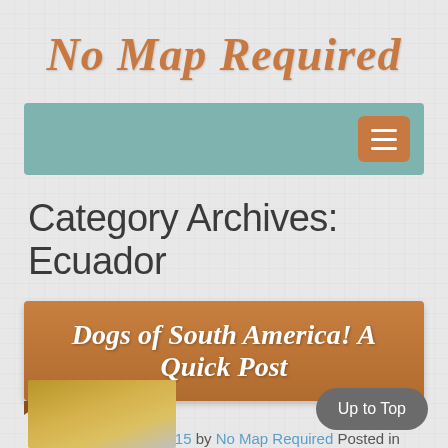No Map Required
[Figure (screenshot): Teal navigation bar with hamburger menu button on the right]
Category Archives: Ecuador
[Figure (infographic): Brown banner ribbon with italic cursive text: Dogs of South America! A Quick Post]
Posted on April 29, 2015 by No Map Required Posted in Argentina, Chile, Ecuador, Places .
[Figure (photo): Partial photo of a dog on a golden/yellow surface]
Up to Top